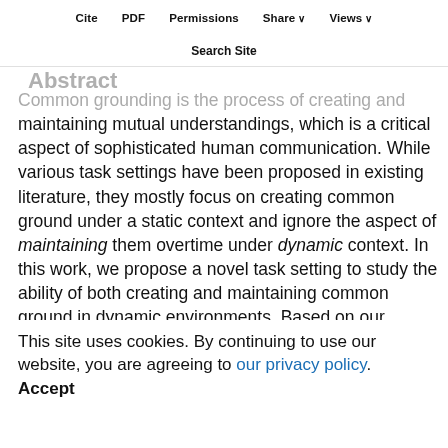Cite  PDF  Permissions  Share ∨  Views ∨
Search Site
Abstract
Common grounding is the process of creating and maintaining mutual understandings, which is a critical aspect of sophisticated human communication. While various task settings have been proposed in existing literature, they mostly focus on creating common ground under a static context and ignore the aspect of maintaining them overtime under dynamic context. In this work, we propose a novel task setting to study the ability of both creating and maintaining common ground in dynamic environments. Based on our minimal task formulation, we collected a large-scale dataset of
5,617 dialogues to enable fine-grained evaluation and analysis of various dialogue systems. Through our dataset analyses, we highlight novel challenges introduced in our setting, such as the usage of complex
This site uses cookies. By continuing to use our website, you are agreeing to our privacy policy.
Accept